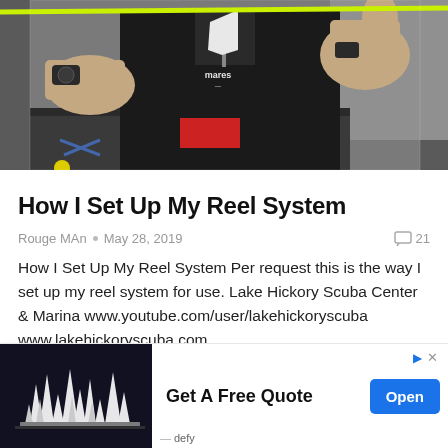[Figure (photo): Person wearing a black Mares branded jacket/top, stretching something (possibly a line or rope) horizontally with both hands in what appears to be a dive shop or workshop setting. A neon yellow-green line is visible at the top.]
How I Set Up My Reel System
Rouge MAn  •  May 28, 2019    💬 21
How I Set Up My Reel System Per request this is the way I set up my reel system for use. Lake Hickory Scuba Center & Marina www.youtube.com/user/lakehickoryscuba www.lakehickoryscuba.com w.facebook.com/lakehickoryscuba...
[Figure (photo): Advertisement photo showing white 3D printed objects on a dark background]
Get A Free Quote
Open
defy